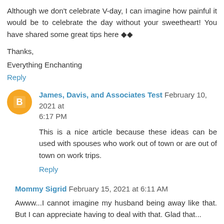Although we don't celebrate V-day, I can imagine how painful it would be to celebrate the day without your sweetheart! You have shared some great tips here ◆◆
Thanks,
Everything Enchanting
Reply
James, Davis, and Associates Test February 10, 2021 at 6:17 PM
This is a nice article because these ideas can be used with spouses who work out of town or are out of town on work trips.
Reply
Mommy Sigrid February 15, 2021 at 6:11 AM
Awww...I cannot imagine my husband being away like that. But I can appreciate having to deal with that. Glad that...